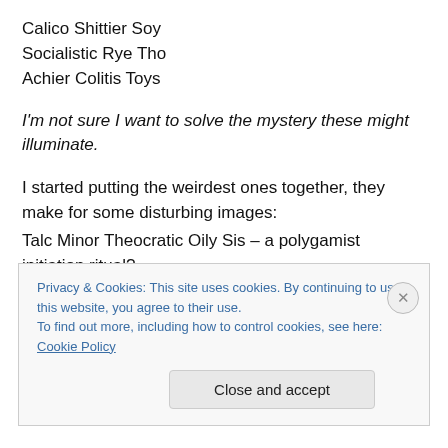Calico Shittier Soy
Socialistic Rye Tho
Achier Colitis Toys
I'm not sure I want to solve the mystery these might illuminate.
I started putting the weirdest ones together, they make for some disturbing images:
Talc Minor Theocratic Oily Sis – a polygamist initiation ritual?
Privacy & Cookies: This site uses cookies. By continuing to use this website, you agree to their use.
To find out more, including how to control cookies, see here: Cookie Policy
Close and accept